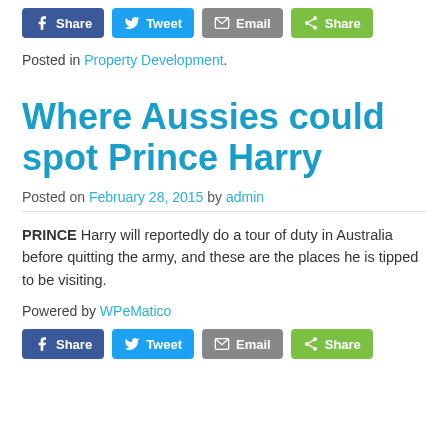[Figure (other): Social share buttons row: Facebook Share, Tweet, Email, Share]
Posted in Property Development.
Where Aussies could spot Prince Harry
Posted on February 28, 2015 by admin
PRINCE Harry will reportedly do a tour of duty in Australia before quitting the army, and these are the places he is tipped to be visiting.
Powered by WPeMatico
[Figure (other): Social share buttons row: Facebook Share, Tweet, Email, Share]